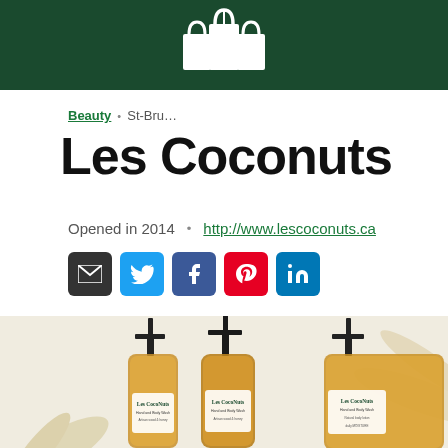[Figure (logo): White shopping bag logo icon on dark green background header bar]
Beauty · St-Bru...
Les Coconuts
Opened in 2014 · http://www.lescoconuts.ca
[Figure (illustration): Social media icons: email (black), Twitter (blue), Facebook (dark blue), Pinterest (red), LinkedIn (blue)]
[Figure (photo): Three Les CocoNuts amber glass pump bottles of hand/body wash on a light background with dried palm leaves]